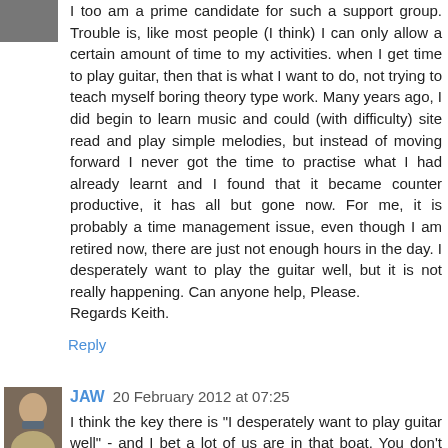[Figure (photo): Small avatar photo, partially cropped at top-left corner]
I too am a prime candidate for such a support group. Trouble is, like most people (I think) I can only allow a certain amount of time to my activities. when I get time to play guitar, then that is what I want to do, not trying to teach myself boring theory type work. Many years ago, I did begin to learn music and could (with difficulty) site read and play simple melodies, but instead of moving forward I never got the time to practise what I had already learnt and I found that it became counter productive, it has all but gone now. For me, it is probably a time management issue, even though I am retired now, there are just not enough hours in the day. I desperately want to play the guitar well, but it is not really happening. Can anyone help, Please.
Regards Keith.
Reply
[Figure (photo): Small avatar photo of a person with a guitar]
JAW 20 February 2012 at 07:25
I think the key there is "I desperately want to play guitar well" - and I bet a lot of us are in that boat. You don't need to know theory to do that (I'm an example), but to be a proper musician you will need to. It's impossible to avoid